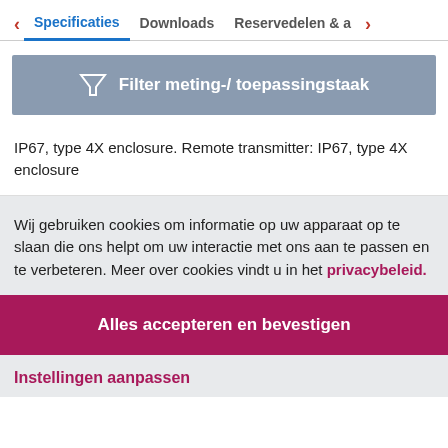< Specificaties  Downloads  Reservedelen & a  >
[Figure (other): Filter button with funnel icon and text 'Filter meting-/ toepassingstaak' on grey-blue background]
IP67, type 4X enclosure. Remote transmitter: IP67, type 4X enclosure
Wij gebruiken cookies om informatie op uw apparaat op te slaan die ons helpt om uw interactie met ons aan te passen en te verbeteren. Meer over cookies vindt u in het privacybeleid.
Alles accepteren en bevestigen
Instellingen aanpassen